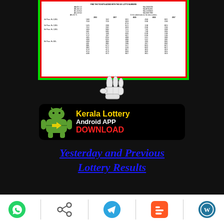[Figure (screenshot): Kerala lottery results document screenshot showing prize amounts and winning ticket numbers in a table format, bordered by red and green frames]
[Figure (illustration): White pointing hand cursor icon]
[Figure (infographic): Kerala Lottery Android APP DOWNLOAD banner with Android robot logo on black background. Text in yellow, white, and red.]
Yesterday and Previous Lottery Results
[Figure (infographic): Social sharing bottom bar with WhatsApp, Share, Telegram, Blogger, and WordPress icons]